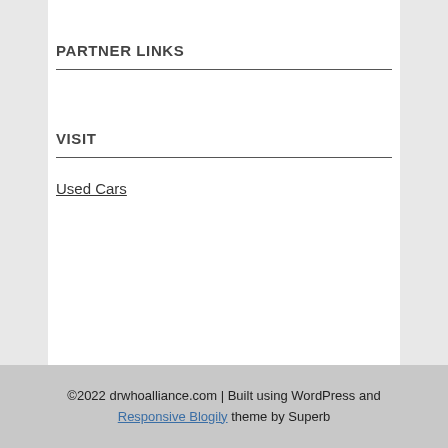PARTNER LINKS
VISIT
Used Cars
©2022 drwhoalliance.com | Built using WordPress and Responsive Blogily theme by Superb